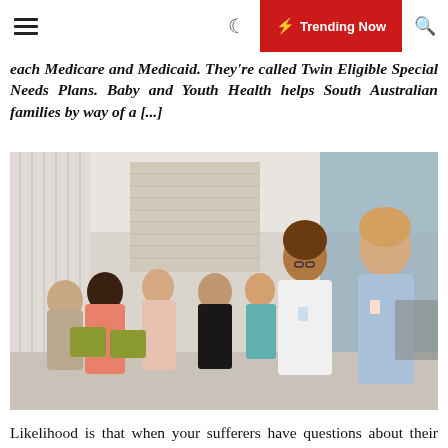☰ 🌙 ⚡ Trending Now 🔍
each Medicare and Medicaid. They're called Twin Eligible Special Needs Plans. Baby and Youth Health helps South Australian families by way of a [...]
[Figure (photo): A group of medical students or trainees seated in a clinical room, with a woman in a white coat (physician or instructor) standing and speaking, and a young man in a light blue shirt standing to her right.]
Likelihood is that when your sufferers have questions about their health they flip to the Internet for solutions. We offer health plans for individuals who qualify for each